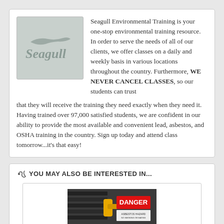[Figure (logo): Seagull logo on gray background]
Seagull Environmental Training is your one-stop environmental training resource. In order to serve the needs of all of our clients, we offer classes on a daily and weekly basis in various locations throughout the country. Furthermore, WE NEVER CANCEL CLASSES, so our students can trust that they will receive the training they need exactly when they need it. Having trained over 97,000 satisfied students, we are confident in our ability to provide the most available and convenient lead, asbestos, and OSHA training in the country. Sign up today and attend class tomorrow...it's that easy!
YOU MAY ALSO BE INTERESTED IN...
[Figure (photo): Photo showing a DANGER warning sign near industrial equipment]